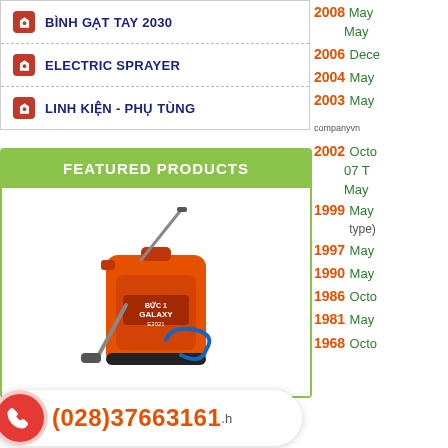BÌNH GẠT TAY 2030
ELECTRIC SPRAYER
LINH KIỆN - PHỤ TÙNG
FEATURED PRODUCTS
[Figure (photo): Orange Galaxy electric backpack sprayer product photo]
(028)37663161
2008 May
May
2006 December
2004 May
2003 May
companyvn
2002 October
07 T
May
1999
type)
1997 May
1990 May
1986 October
1981 May
1968 October